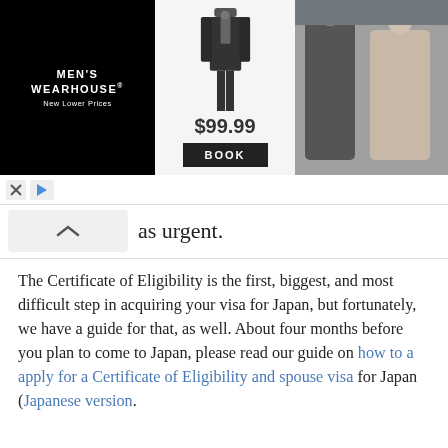[Figure (screenshot): Men's Wearhouse advertisement banner showing a suit priced at $99.99 with a BOOK button, and a photo of a wedding couple]
as urgent.
The Certificate of Eligibility is the first, biggest, and most difficult step in acquiring your visa for Japan, but fortunately, we have a guide for that, as well. About four months before you plan to come to Japan, please read our guide on how to a apply for a Certificate of Eligibility and spouse visa for Japan (Japanese version.
PLEASE LEAVE A COMMENT!
Did this guide help you? Was there anything we should have explained in more detail? Let us know